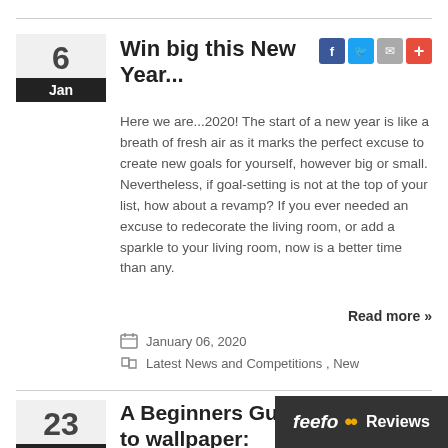Win big this New Year...
Here we are...2020! The start of a new year is like a breath of fresh air as it marks the perfect excuse to create new goals for yourself, however big or small. Nevertheless, if goal-setting is not at the top of your list, how about a revamp? If you ever needed an excuse to redecorate the living room, or add a sparkle to your living room, now is a better time than any.
Read more »
January 06, 2020
Latest News and Competitions , New
A Beginners Guide to wallpaper: Batch Checking and To...